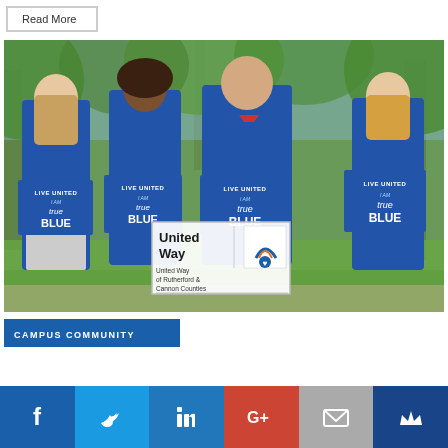Read More ▶
[Figure (photo): Four people in blue 'Live United' t-shirts holding 'I am True Blue' signs in a park setting. United Way of Rutherford & Cannon Counties logo overlay visible.]
CAMPUS COMMUNITY
[Figure (infographic): Social media share bar with Facebook, Twitter, LinkedIn, Google+, Email, and Klout icons]